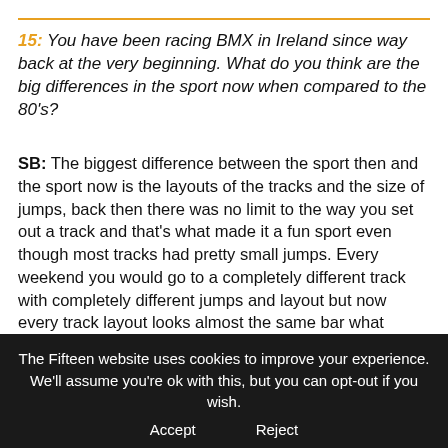15: You have been racing BMX in Ireland since way back at the very beginning. What do you think are the big differences in the sport now when compared to the 80's?
SB: The biggest difference between the sport then and the sport now is the layouts of the tracks and the size of jumps, back then there was no limit to the way you set out a track and that's what made it a fun sport even though most tracks had pretty small jumps. Every weekend you would go to a completely different track  with completely different jumps and layout but now every track layout looks almost the same bar what jumps are on it and even that is becoming more and more similar.
Reading through the UCI track guidelines they don't allow things like S-Turns ... well why the hell not? Example; Mid-
The Fifteen website uses cookies to improve your experience. We'll assume you're ok with this, but you can opt-out if you wish.